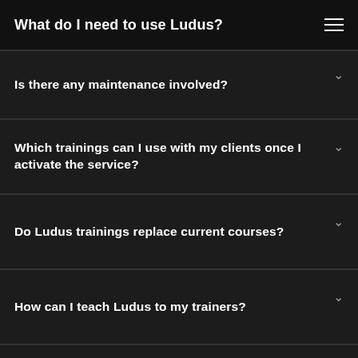What do I need to use Ludus?
Is there any maintenance involved?
Which trainings can I use with my clients once I activate the service?
Do Ludus trainings replace current courses?
How can I teach Ludus to my trainers?
Do I need an internet connection to make use of Ludus?
Can I take the equipment from one